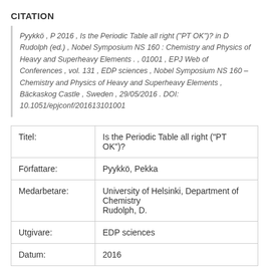CITATION
Pyykkö , P 2016 , Is the Periodic Table all right ("PT OK")? in D Rudolph (ed.) , Nobel Symposium NS 160 : Chemistry and Physics of Heavy and Superheavy Elements . , 01001 , EPJ Web of Conferences , vol. 131 , EDP sciences , Nobel Symposium NS 160 – Chemistry and Physics of Heavy and Superheavy Elements , Bäckaskog Castle , Sweden , 29/05/2016 . DOI: 10.1051/epjconf/201613101001
| Titel: | Is the Periodic Table all right ("PT OK")? |
| Författare: | Pyykkö, Pekka |
| Medarbetare: | University of Helsinki, Department of Chemistry
Rudolph, D. |
| Utgivare: | EDP sciences |
| Datum: | 2016 |